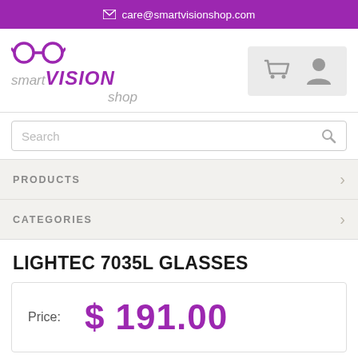care@smartvisionshop.com
[Figure (logo): Smart Vision Shop logo with glasses icon and stylized text]
[Figure (other): Shopping cart and user account icons in grey box]
Search
PRODUCTS
CATEGORIES
LIGHTEC 7035L GLASSES
Price: $ 191.00